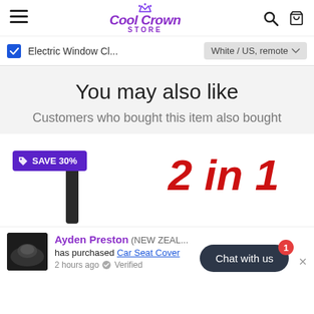Cool Crown Store
Electric Window Cl... White / US, remote
You may also like
Customers who bought this item also bought
[Figure (other): Product card showing SAVE 30% badge and '2 in 1' text in red with a black product image]
Ayden Preston (NEW ZEALAND) has purchased Car Seat Cover 2 hours ago ✓ Verified
Chat with us